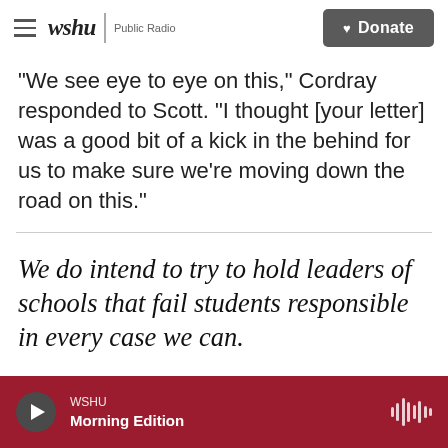wshu | Public Radio   Donate
"We see eye to eye on this," Cordray responded to Scott. "I thought [your letter] was a good bit of a kick in the behind for us to make sure we're moving down the road on this."
We do intend to try to hold leaders of schools that fail students responsible in every case we can.
WSHU  Morning Edition